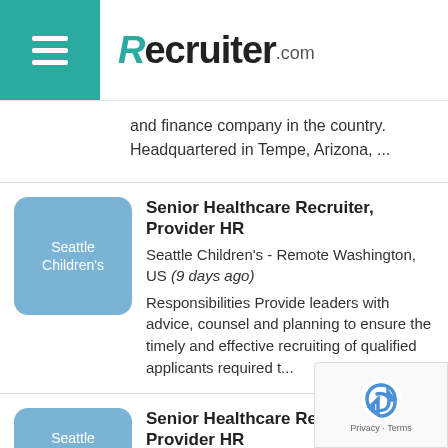Recruiter.com
and finance company in the country. Headquartered in Tempe, Arizona, ...
Senior Healthcare Recruiter, Provider HR
Seattle Children's - Remote Washington, US (9 days ago)
Responsibilities Provide leaders with advice, counsel and planning to ensure the timely and effective recruiting of qualified applicants required t...
Senior Healthcare Recruiter, Provider HR
Seattle Children's - Remote Texas, US